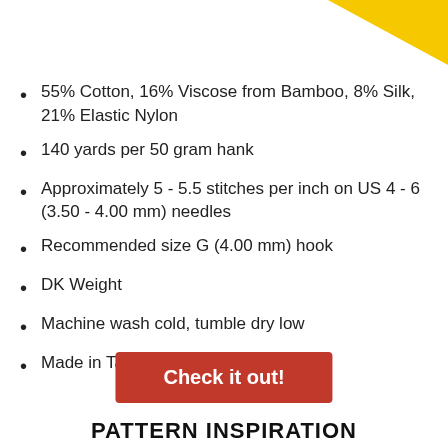[Figure (illustration): Yellow triangular decorative shape in top-right corner]
55% Cotton, 16% Viscose from Bamboo, 8% Silk, 21% Elastic Nylon
140 yards per 50 gram hank
Approximately 5 - 5.5 stitches per inch on US 4 - 6 (3.50 - 4.00 mm) needles
Recommended size G (4.00 mm) hook
DK Weight
Machine wash cold, tumble dry low
Made in Taiwan
Check it out!
PATTERN INSPIRATION